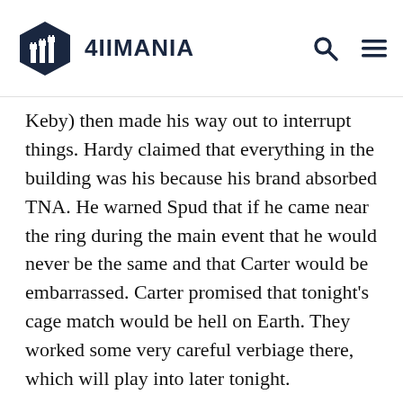4IIMANIA
Keby) then made his way out to interrupt things. Hardy claimed that everything in the building was his because his brand absorbed TNA. He warned Spud that if he came near the ring during the main event that he would never be the same and that Carter would be embarrassed. Carter promised that tonight's cage match would be hell on Earth. They worked some very careful verbiage there, which will play into later tonight.